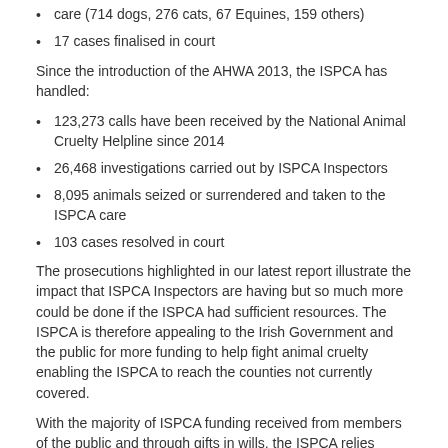care (714 dogs, 276 cats, 67 Equines, 159 others)
17 cases finalised in court
Since the introduction of the AHWA 2013, the ISPCA has handled:
123,273 calls have been received by the National Animal Cruelty Helpline since 2014
26,468 investigations carried out by ISPCA Inspectors
8,095 animals seized or surrendered and taken to the ISPCA care
103 cases resolved in court
The prosecutions highlighted in our latest report illustrate the impact that ISPCA Inspectors are having but so much more could be done if the ISPCA had sufficient resources. The ISPCA is therefore appealing to the Irish Government and the public for more funding to help fight animal cruelty enabling the ISPCA to reach the counties not currently covered.
With the majority of ISPCA funding received from members of the public and through gifts in wills, the ISPCA relies heavily on public support to continue our work preventing animal cruelty and alleviating animal suffering. If you can support our work by making a kind donation, please visit https://www.ispca.ie/donate/once_off